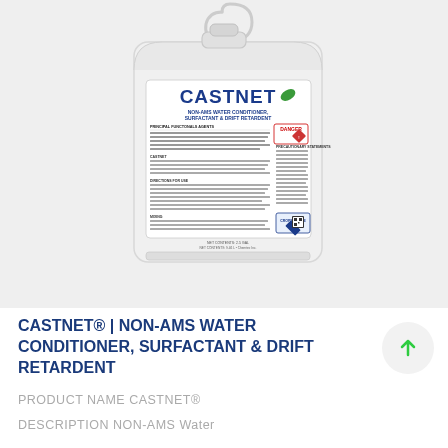[Figure (photo): White plastic gallon jug of CASTNET NON-AMS Water Conditioner, Surfactant & Drift Retardent with detailed product label showing CASTNET branding in blue and green, DANGER hazard warning, and manufacturer information.]
CASTNET® | NON-AMS WATER CONDITIONER, SURFACTANT & DRIFT RETARDENT
PRODUCT NAME CASTNET®
DESCRIPTION NON-AMS Water